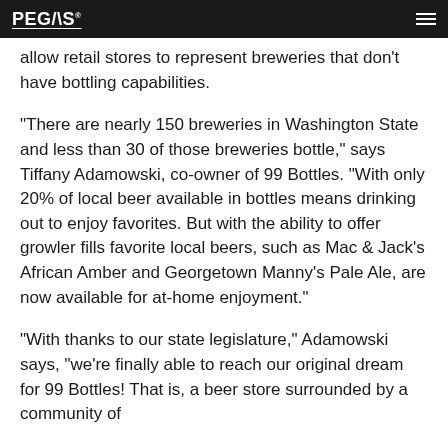PEGAS
allow retail stores to represent breweries that don't have bottling capabilities.
"There are nearly 150 breweries in Washington State and less than 30 of those breweries bottle," says Tiffany Adamowski, co-owner of 99 Bottles. “With only 20% of local beer available in bottles means drinking out to enjoy favorites. But with the ability to offer growler fills favorite local beers, such as Mac & Jack’s African Amber and Georgetown Manny’s Pale Ale, are now available for at-home enjoyment."
"With thanks to our state legislature," Adamowski says, "we're finally able to reach our original dream for 99 Bottles! That is, a beer store surrounded by a community of